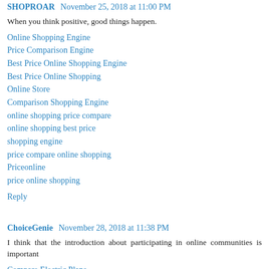SHOPROAR November 25, 2018 at 11:00 PM
When you think positive, good things happen.
Online Shopping Engine
Price Comparison Engine
Best Price Online Shopping Engine
Best Price Online Shopping
Online Store
Comparison Shopping Engine
online shopping price compare
online shopping best price
shopping engine
price compare online shopping
Priceonline
price online shopping
Reply
ChoiceGenie November 28, 2018 at 11:38 PM
I think that the introduction about participating in online communities is important
Compare Electric Plans
Compare Electric Plans